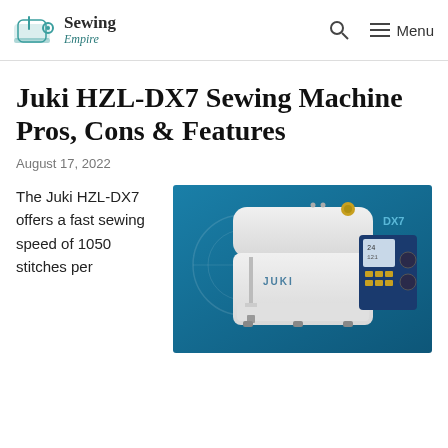Sewing Empire — Menu
Juki HZL-DX7 Sewing Machine Pros, Cons & Features
August 17, 2022
The Juki HZL-DX7 offers a fast sewing speed of 1050 stitches per
[Figure (photo): Photo of the Juki HZL-DX7 sewing machine on a blue background, showing the white machine with DX7 branding and a blue LCD control panel on the right side.]